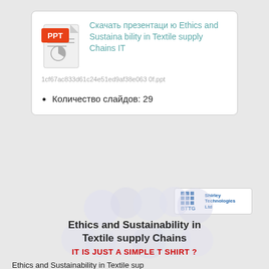[Figure (screenshot): PPT file card with icon, title in Russian and English 'Скачать презентацию Ethics and Sustainability in Textile supply Chains IT', hash filename, and slide count list item]
Количество слайдов: 29
[Figure (logo): BTTG Shirley Technologies Ltd logo in a white rounded box]
[Figure (screenshot): Slide preview showing bubbles background with title 'Ethics and Sustainability in Textile supply Chains' and subtitle 'IT IS JUST A SIMPLE T SHIRT ?']
Ethics and Sustainability in Textile supply Chains
IT IS JUST A SIMPLE T SHIRT ?
Ethics and Sustainability in Textile sup ply...